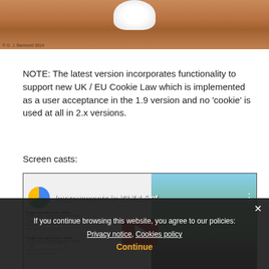[Figure (photo): Close-up photo of a small white circular object (possibly a sensor or button) on a brown cork/wood surface. Photo credit visible at bottom left.]
NOTE: The latest version incorporates functionality to support new UK / EU Cookie Law which is implemented as a user acceptance in the 1.9 version and no 'cookie' is used at all in 2.x versions.
Screen casts:
[Figure (screenshot): YouTube video embed showing 'Improvements in V2.7.1.5 of...' with a play button overlay. The video shows a settings panel on the left and a landscape photo on the right. YouTube logo and three-dots menu visible.]
If you continue browsing this website, you agree to our policies: Privacy notice, Cookies policy
Continue